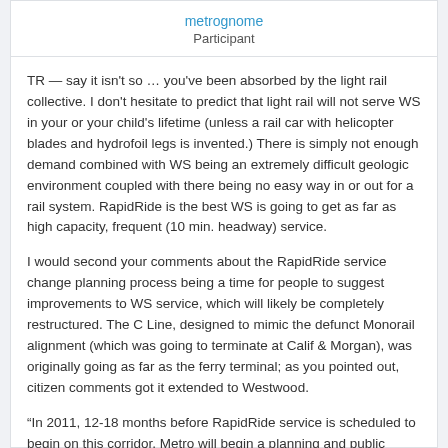metrognome
Participant
TR — say it isn't so … you've been absorbed by the light rail collective. I don't hesitate to predict that light rail will not serve WS in your or your child's lifetime (unless a rail car with helicopter blades and hydrofoil legs is invented.) There is simply not enough demand combined with WS being an extremely difficult geologic environment coupled with there being no easy way in or out for a rail system. RapidRide is the best WS is going to get as far as high capacity, frequent (10 min. headway) service.
I would second your comments about the RapidRide service change planning process being a time for people to suggest improvements to WS service, which will likely be completely restructured. The C Line, designed to mimic the defunct Monorail alignment (which was going to terminate at Calif & Morgan), was originally going as far as the ferry terminal; as you pointed out, citizen comments got it extended to Westwood.
“In 2011, 12-18 months before RapidRide service is scheduled to begin on this corridor, Metro will begin a planning and public outreach process to consider possible changes to bus routes